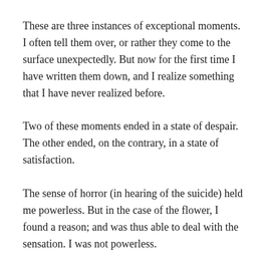These are three instances of exceptional moments. I often tell them over, or rather they come to the surface unexpectedly. But now for the first time I have written them down, and I realize something that I have never realized before.
Two of these moments ended in a state of despair. The other ended, on the contrary, in a state of satisfaction.
The sense of horror (in hearing of the suicide) held me powerless. But in the case of the flower, I found a reason; and was thus able to deal with the sensation. I was not powerless.
Though I still have the peculiarity that I receive these sudden shocks, they are now always welcome; after the first surprise I always feel that they...